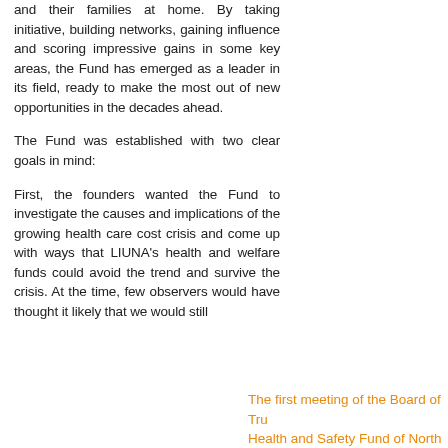and their families at home. By taking initiative, building networks, gaining influence and scoring impressive gains in some key areas, the Fund has emerged as a leader in its field, ready to make the most out of new opportunities in the decades ahead.

The Fund was established with two clear goals in mind:

First, the founders wanted the Fund to investigate the causes and implications of the growing health care cost crisis and come up with ways that LIUNA's health and welfare funds could avoid the trend and survive the crisis. At the time, few observers would have thought it likely that we would still
The first meeting of the Board of Trustees of the LIUNA Health and Safety Fund of North America at LIUNA Headquarters. Front row, from left: Anthony Rizzuto, Lusi Construction, Trustee; Arthur E. Coia, LIUNA General Secretary-Treasurer and Trustee; Angelo Lonardo, LIUNA General President and Fund Chairman; Edwin D. Miller, Mason Contractors Association